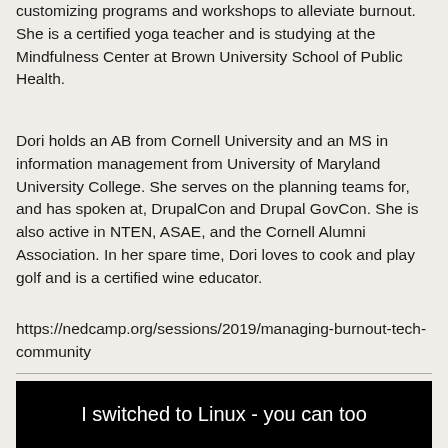customizing programs and workshops to alleviate burnout. She is a certified yoga teacher and is studying at the Mindfulness Center at Brown University School of Public Health.
Dori holds an AB from Cornell University and an MS in information management from University of Maryland University College. She serves on the planning teams for, and has spoken at, DrupalCon and Drupal GovCon. She is also active in NTEN, ASAE, and the Cornell Alumni Association. In her spare time, Dori loves to cook and play golf and is a certified wine educator.
https://nedcamp.org/sessions/2019/managing-burnout-tech-community
[Figure (screenshot): Black banner image with white text reading: I switched to Linux - you can too]